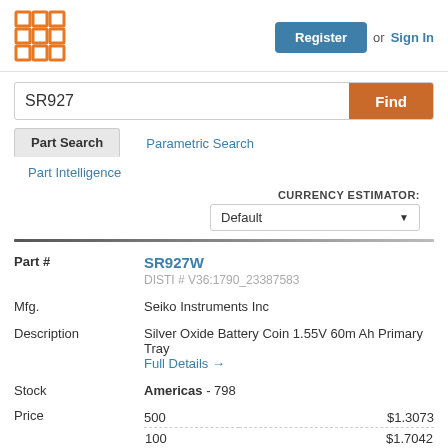[Figure (logo): Orange grid/matrix logo icon in top left]
Register or Sign In
SR927
Find
Part Search
Parametric Search
Part Intelligence
CURRENCY ESTIMATOR: Default
| Field | Value |
| --- | --- |
| Part # | SR927W
DISTI # V36:1790_23387583 |
| Mfg. | Seiko Instruments Inc |
| Description | Silver Oxide Battery Coin 1.55V 60m Ah Primary Tray
Full Details → |
| Stock | Americas - 798 |
| Price | 500  $1.3073
100  $1.7042 |